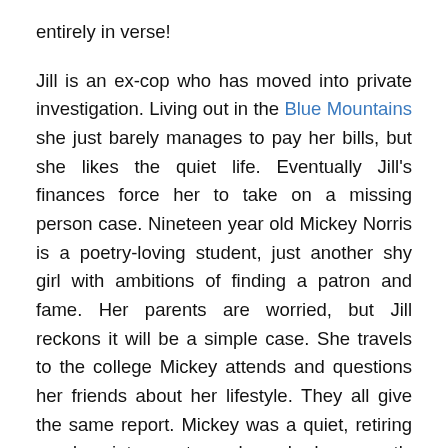entirely in verse!
Jill is an ex-cop who has moved into private investigation. Living out in the Blue Mountains she just barely manages to pay her bills, but she likes the quiet life. Eventually Jill's finances force her to take on a missing person case. Nineteen year old Mickey Norris is a poetry-loving student, just another shy girl with ambitions of finding a patron and fame. Her parents are worried, but Jill reckons it will be a simple case. She travels to the college Mickey attends and questions her friends about her lifestyle. They all give the same report. Mickey was a quiet, retiring nondescript sort, who had recently discovered poetry.
Then Jill meets Mickey's tutor Diana, who proves to be something of a distraction from the case. Married to an ambitious legal eagle Nick, she seems way out of the